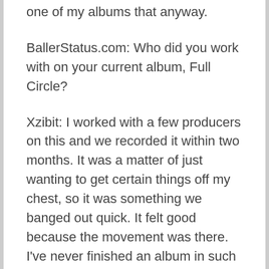one of my albums that anyway.
BallerStatus.com: Who did you work with on your current album, Full Circle?
Xzibit: I worked with a few producers on this and we recorded it within two months. It was a matter of just wanting to get certain things off my chest, so it was something we banged out quick. It felt good because the movement was there. I've never finished an album in such a short time before.
BallerStatus.com: You dropped it through Koch Records?
Xzibit: It was just a one-off licensing deal with them. I would like to see a new business model